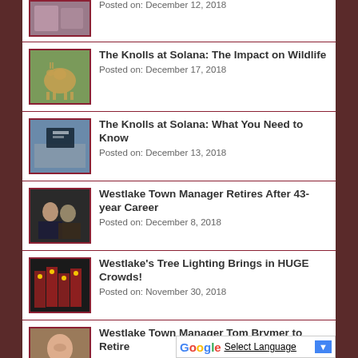Posted on: December 12, 2018
The Knolls at Solana: The Impact on Wildlife
Posted on: December 17, 2018
The Knolls at Solana: What You Need to Know
Posted on: December 13, 2018
Westlake Town Manager Retires After 43-year Career
Posted on: December 8, 2018
Westlake's Tree Lighting Brings in HUGE Crowds!
Posted on: November 30, 2018
Westlake Town Manager Tom Brymer to Retire
Posted on: November 28, 2018
Select Language